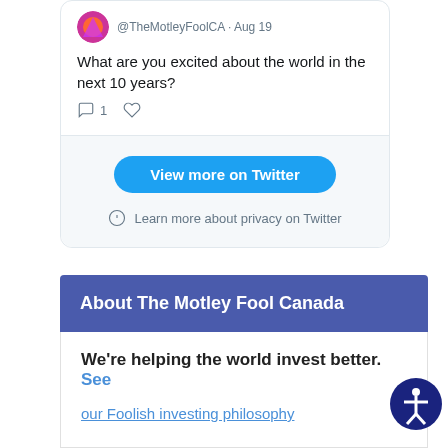[Figure (screenshot): Twitter/X embedded tweet card from @TheMotleyFoolCA dated Aug 19, showing tweet text and action icons]
@TheMotleyFoolCA · Aug 19
What are you excited about the world in the next 10 years?
View more on Twitter
Learn more about privacy on Twitter
About The Motley Fool Canada
We're helping the world invest better. See our Foolish investing philosophy